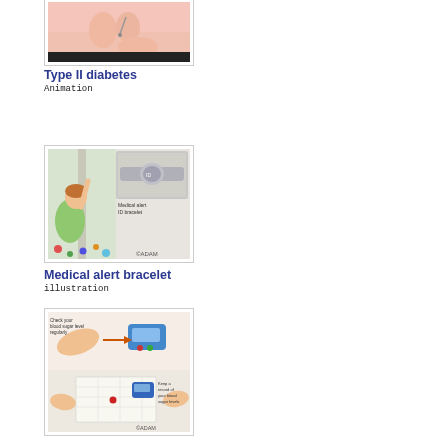[Figure (illustration): Partial view of a Type II diabetes animation thumbnail showing a hand/injection illustration]
Type II diabetes
Animation
[Figure (illustration): Medical alert bracelet illustration showing a child reaching up and an inset of a medical alert ID bracelet on a wrist. Text reads 'Medical alert ID bracelet'. Watermark: ©ADAM]
Medical alert bracelet
illustration
[Figure (illustration): Blood sugar monitoring illustration showing hands with a glucose meter. Text reads 'Check your blood sugar level regularly' and 'Keep a record of your blood sugar levels'. Watermark: ©ADAM]